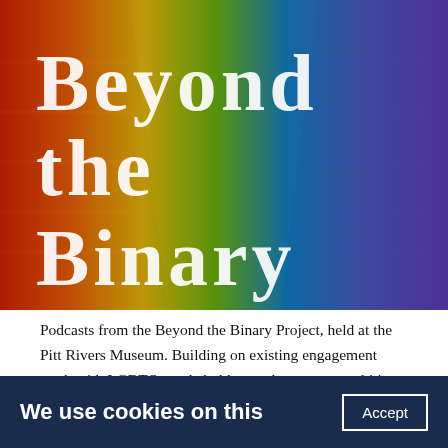[Figure (photo): A museum interior (Pitt Rivers Museum) overlaid with a rainbow gradient (red, orange, yellow, green, blue, purple) covering the full image. Large white serif text reads 'Beyond the Binary' in three lines.]
Podcasts from the Beyond the Binary Project, held at the Pitt Rivers Museum. Building on existing engagement work with LGBTQ+ stakeholders and set out an ambitious programme to build inclusive
We use cookies on this   Accept